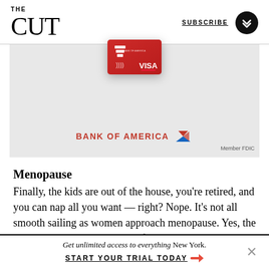THE CUT | SUBSCRIBE
[Figure (photo): Bank of America Visa credit card advertisement with red card and Bank of America logo. Text reads 'BANK OF AMERICA Member FDIC']
Menopause
Finally, the kids are out of the house, you’re retired, and you can nap all you want — right? Nope. It’s not all smooth sailing as women approach menopause. Yes, the dreaded night sweats and hot flashes can
Get unlimited access to everything New York. START YOUR TRIAL TODAY